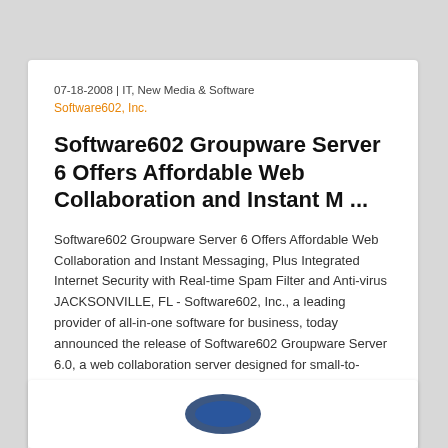07-18-2008 | IT, New Media & Software
Software602, Inc.
Software602 Groupware Server 6 Offers Affordable Web Collaboration and Instant M ...
Software602 Groupware Server 6 Offers Affordable Web Collaboration and Instant Messaging, Plus Integrated Internet Security with Real-time Spam Filter and Anti-virus JACKSONVILLE, FL - Software602, Inc., a leading provider of all-in-one software for business, today announced the release of Software602 Groupware Server 6.0, a web collaboration server designed for small-to-midsize organizations. This new server is based on the previous success of 602LAN SUITE and adds corporate Instant Messaging with searchable archive,...